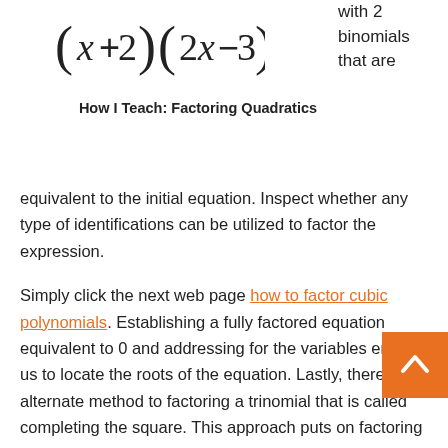with 2 binomials that are
How I Teach: Factoring Quadratics
equivalent to the initial equation. Inspect whether any type of identifications can be utilized to factor the expression.
Simply click the next web page how to factor cubic polynomials. Establishing a fully factored equation equivalent to 0 and addressing for the variables enables us to locate the roots of the equation. Lastly, there is an alternate method to factoring a trinomial that is called completing the square. This approach puts on factoring quadratic equations. Compose each worth as the 2nd term in each binomial with the positive indication. Ideally the greatest common aspect needs to be used, otherwise the expression will certainly need